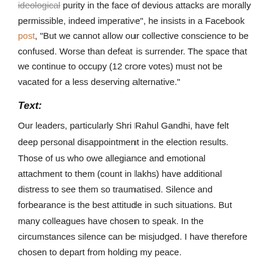ideological purity in the face of devious attacks are morally permissible, indeed imperative", he insists in a Facebook post, "But we cannot allow our collective conscience to be confused. Worse than defeat is surrender. The space that we continue to occupy (12 crore votes) must not be vacated for a less deserving alternative."
Text:
Our leaders, particularly Shri Rahul Gandhi, have felt deep personal disappointment in the election results. Those of us who owe allegiance and emotional attachment to them (count in lakhs) have additional distress to see them so traumatised. Silence and forbearance is the best attitude in such situations. But many colleagues have chosen to speak. In the circumstances silence can be misjudged. I have therefore chosen to depart from holding my peace.